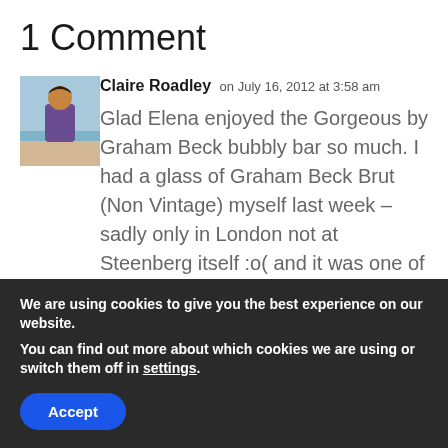1 Comment
[Figure (photo): Avatar photo of Claire Roadley, a woman standing on a beach]
Claire Roadley on July 16, 2012 at 3:58 am
Glad Elena enjoyed the Gorgeous by Graham Beck bubbly bar so much. I had a glass of Graham Beck Brut (Non Vintage) myself last week – sadly only in London not at Steenberg itself :o( and it was one of my favourite's ever!
We are using cookies to give you the best experience on our website.
You can find out more about which cookies we are using or switch them off in settings.
Accept